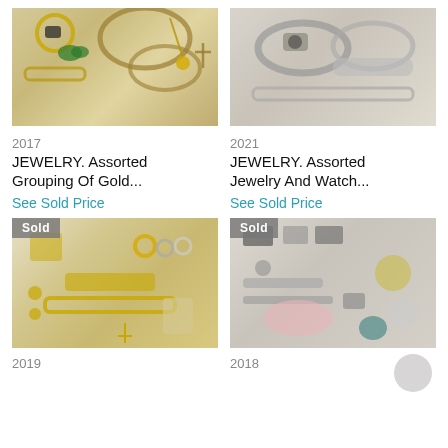[Figure (photo): Assorted gold jewelry including chains, rings, bracelets, pendants, and brooches on white background]
[Figure (photo): Assorted jewelry and watches including bangles, bracelets, and chain on white background]
2017
JEWELRY. Assorted Grouping Of Gold...
See Sold Price
2021
JEWELRY. Assorted Jewelry And Watch...
See Sold Price
[Figure (photo): Sold - Assorted gold rings, bracelets, cufflinks and watch on white background. Sold badge visible.]
[Figure (photo): Sold - Large assorted lot of jewelry including brooches, rings, bracelets and various items on white background. Sold badge visible.]
2019
2018